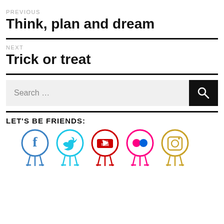PREVIOUS
Think, plan and dream
NEXT
Trick or treat
[Figure (other): Search bar with text 'Search ...' and a black search button with magnifying glass icon]
LET'S BE FRIENDS:
[Figure (illustration): Social media icons: Facebook (blue), Twitter (cyan), YouTube (red), Flickr (pink/blue), Instagram (yellow/gold)]